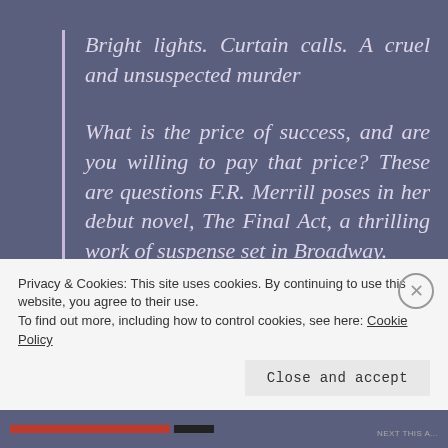Bright lights. Curtain calls. A cruel and unsuspected murder
What is the price of success, and are you willing to pay that price? These are questions F.R. Merrill poses in her debut novel, The Final Act, a thrilling work of suspense set in Broadway.
F.R. Merrill takes us into the life of an
Privacy & Cookies: This site uses cookies. By continuing to use this website, you agree to their use.
To find out more, including how to control cookies, see here: Cookie Policy
Close and accept